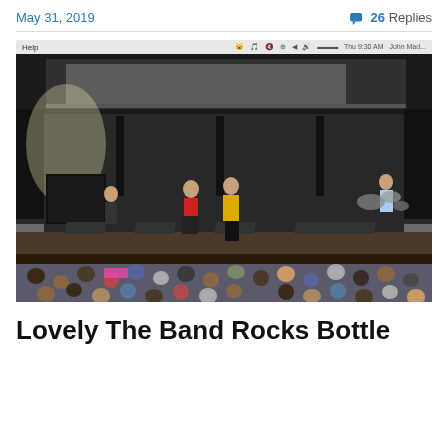May 31, 2019    💬 26 Replies
[Figure (screenshot): Screenshot of a concert photo showing a band performing on a large outdoor stage with audience in the foreground. Musicians visible include guitarists and a drummer. Stage has extensive lighting and rigging equipment. A browser toolbar is visible at the top of the screenshot.]
Lovely The Band Rocks Bottle